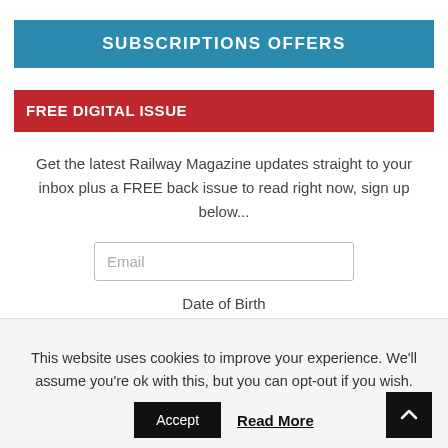SUBSCRIPTIONS OFFERS
FREE DIGITAL ISSUE
Get the latest Railway Magazine updates straight to your inbox plus a FREE back issue to read right now, sign up below...
Email
Date of Birth
mm/dd/yyyy
This website uses cookies to improve your experience. We'll assume you're ok with this, but you can opt-out if you wish.
Accept
Read More